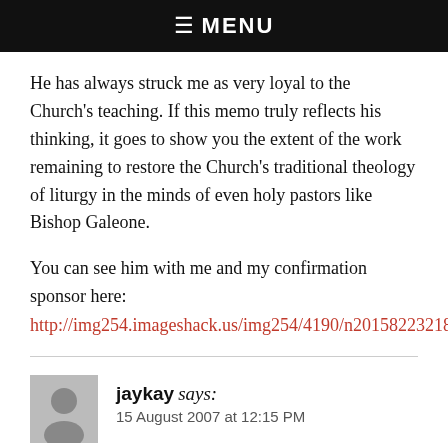☰ MENU
He has always struck me as very loyal to the Church's teaching. If this memo truly reflects his thinking, it goes to show you the extent of the work remaining to restore the Church's traditional theology of liturgy in the minds of even holy pastors like Bishop Galeone.
You can see him with me and my confirmation sponsor here: http://img254.imageshack.us/img254/4190/n2015822321845413cc
jaykay says: 15 August 2007 at 12:15 PM
In a related (sort of) sense, the current edition of the Adoremus Bulletin quotes Bishop Galeone in support of Bp. Trautman's